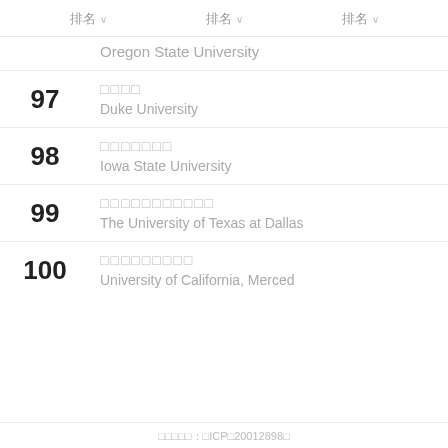排名  排名  排名
Oregon State University
97 — 杜克大学 Duke University
98 — 爱荷华州立大学 Iowa State University
99 — 德克萨斯大学达拉斯分校 The University of Texas at Dallas
100 — 加州大学默塞德分校 University of California, Merced
版权所有：京ICP备20012898号